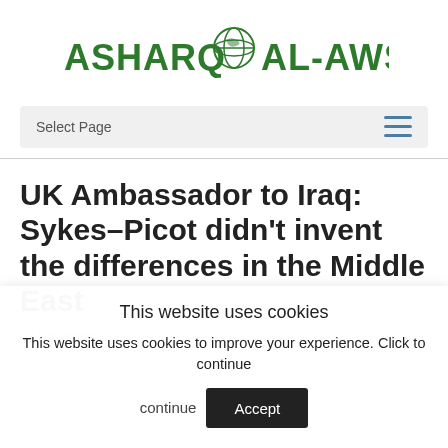ASHARQ AL-AWSAT
Select Page
UK Ambassador to Iraq: Sykes–Picot didn't invent the differences in the Middle East
This website uses cookies
This website uses cookies to improve your experience. Click to continue
Accept